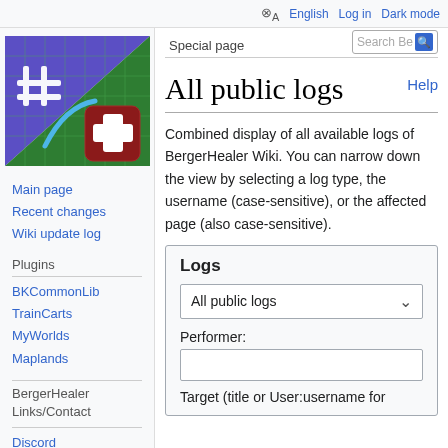English  Log in  Dark mode
[Figure (logo): BergerHealer wiki logo - purple and green grid background with white hash symbol and red cross icon]
Main page
Recent changes
Wiki update log
Plugins
BKCommonLib
TrainCarts
MyWorlds
Maplands
BergerHealer Links/Contact
Discord
Spigot
All public logs
Combined display of all available logs of BergerHealer Wiki. You can narrow down the view by selecting a log type, the username (case-sensitive), or the affected page (also case-sensitive).
Logs
All public logs
Performer:
Target (title or User:username for